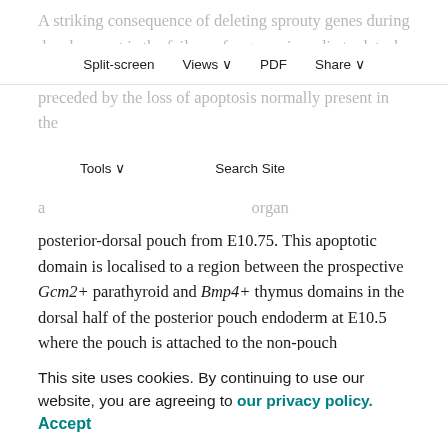A striking consequence of deleting sprouty genes during development is the failure of organ primordia to detach from the pharynx and each side. This phenotype was preceded by the loss of apoptosis normally present in the
Split-screen | Views | PDF | Share | Tools | Search Site
posterior-dorsal pouch from E10.75. This apoptotic domain is localised to a region between the prospective Gcm2+ parathyroid and Bmp4+ thymus domains in the dorsal half of the posterior pouch endoderm at E10.5 where the pouch is attached to the non-pouch pharyngeal endoderm (PE in Fig. 9). We have detected the expression of Fgf3, Fgf8 and Fgf15 in and adjacent to this region, suggesting that the regulation of FGF signalling might be intimately linked to
the separation process. The observation that low levels of FGF signalling in the posterior-dorsal pouch are associated with apoptosis during normal development is in agreement with previous demonstrations that FGF signalling is
This site uses cookies. By continuing to use our website, you are agreeing to our privacy policy. Accept